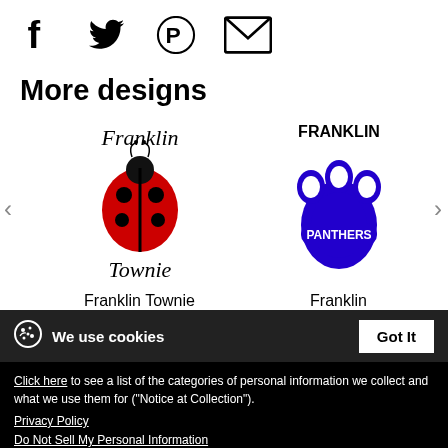[Figure (illustration): Social media share icons: Facebook (f), Twitter (bird), Pinterest (P), Email (envelope)]
More designs
[Figure (illustration): Franklin Townie Ladybug design: text 'Franklin' above a red ladybug illustration with 'Townie' below]
Franklin Townie Ladybug
[Figure (illustration): Franklin Panthers design: text 'FRANKLIN' above a blue paw print with 'PANTHERS' inside]
Franklin Panthers
We use cookies
Got It
Click here to see a list of the categories of personal information we collect and what we use them for ("Notice at Collection").
Privacy Policy
Do Not Sell My Personal Information
By using this website, I agree to the Terms and Conditions